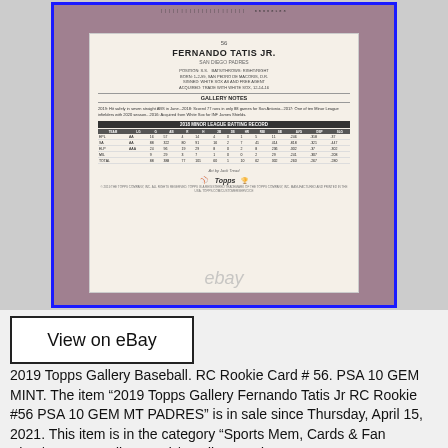[Figure (photo): Back of a 2019 Topps Gallery Baseball Fernando Tatis Jr. RC Rookie Card #56 in a PSA graded slab, shown against a purple background. Card shows player stats, gallery notes, MLB/Topps logos and an eBay watermark.]
View on eBay
2019 Topps Gallery Baseball. RC Rookie Card # 56. PSA 10 GEM MINT. The item “2019 Topps Gallery Fernando Tatis Jr RC Rookie #56 PSA 10 GEM MT PADRES” is in sale since Thursday, April 15, 2021. This item is in the category “Sports Mem, Cards & Fan Shop\Sports Trading Cards\Trading Card